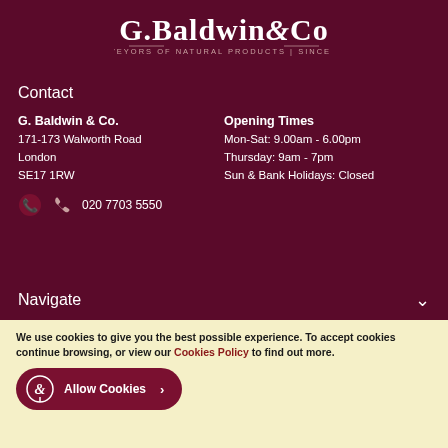[Figure (logo): G. Baldwin & Co. logo — white text on dark red background, with tagline 'PURVEYORS OF NATURAL PRODUCTS | SINCE 1844']
Contact
G. Baldwin & Co.
171-173 Walworth Road
London
SE17 1RW
Opening Times
Mon-Sat: 9.00am - 6.00pm
Thursday: 9am - 7pm
Sun & Bank Holidays: Closed
020 7703 5550
Navigate
We use cookies to give you the best possible experience. To accept cookies continue browsing, or view our Cookies Policy to find out more.
Allow Cookies